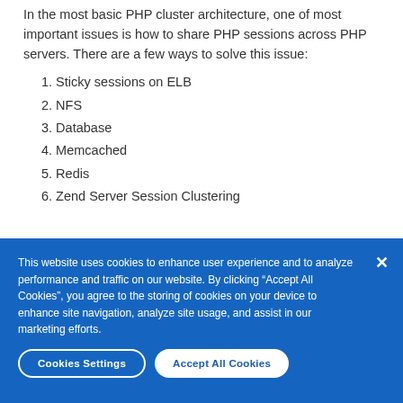In the most basic PHP cluster architecture, one of most important issues is how to share PHP sessions across PHP servers. There are a few ways to solve this issue:
1. Sticky sessions on ELB
2. NFS
3. Database
4. Memcached
5. Redis
6. Zend Server Session Clustering
This website uses cookies to enhance user experience and to analyze performance and traffic on our website. By clicking “Accept All Cookies”, you agree to the storing of cookies on your device to enhance site navigation, analyze site usage, and assist in our marketing efforts.